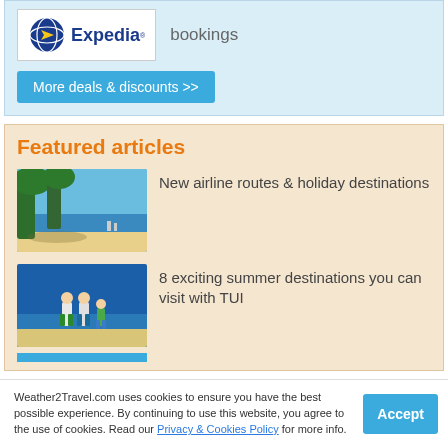[Figure (logo): Expedia logo with globe icon and 'bookings' text next to it]
More deals & discounts >>
Featured articles
[Figure (photo): Tropical beach scene with leaning trees, white sand, and blue sea]
New airline routes & holiday destinations
[Figure (photo): Family of three walking on a white sand beach with blue sea behind them]
8 exciting summer destinations you can visit with TUI
Weather2Travel.com uses cookies to ensure you have the best possible experience. By continuing to use this website, you agree to the use of cookies. Read our Privacy & Cookies Policy for more info.
Accept